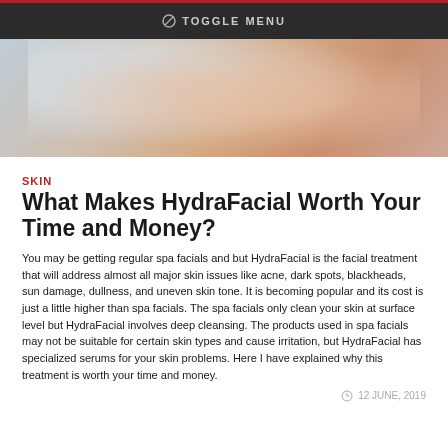TOGGLE MENU
[Figure (photo): Close-up photo of a woman's face and neck with a white towel wrapped around her head, skin care context]
SKIN
What Makes HydraFacial Worth Your Time and Money?
You may be getting regular spa facials and but HydraFacial is the facial treatment that will address almost all major skin issues like acne, dark spots, blackheads, sun damage, dullness, and uneven skin tone. It is becoming popular and its cost is just a little higher than spa facials. The spa facials only clean your skin at surface level but HydraFacial involves deep cleansing. The products used in spa facials may not be suitable for certain skin types and cause irritation, but HydraFacial has specialized serums for your skin problems. Here I have explained why this treatment is worth your time and money.
12 JUNE, 2019